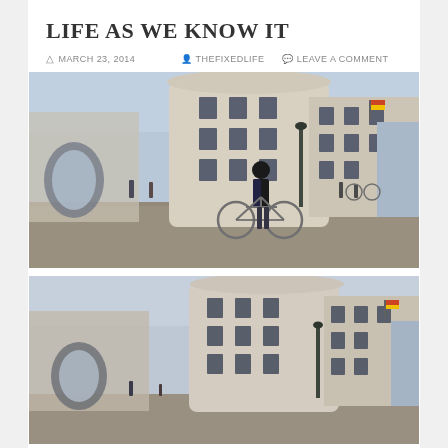LIFE AS WE KNOW IT
MARCH 23, 2014   THEFIXEDLIFE   LEAVE A COMMENT
[Figure (photo): Person standing with a fixed-gear bicycle in front of a curved classical stone building in London, with Admiralty Arch visible in the background. A white taxi cab is parked to the right.]
[Figure (photo): Closer view of the same curved classical stone building in London with Admiralty Arch visible in background, similar scene without the cyclist prominently visible.]